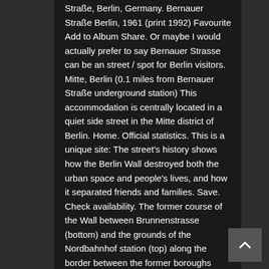Straße, Berlin, Germany. Bernauer Straße Berlin, 1961 (print 1992) Favourite Add to Album Share. Or maybe I would actually prefer to say Bernauer Strasse can be an street / spot for Berlin visitors. Mitte, Berlin (0.1 miles from Bernauer Straße underground station) This accommodation is centrally located in a quiet side street in the Mitte district of Berlin. Home. Official statistics. This is a unique site: The street's history shows how the Berlin Wall destroyed both the urban space and people's lives, and how it separated friends and families. Save. Check availability. The former course of the Wall between Brunnenstrasse (bottom) and the grounds of the Nordbahnhof station (top) along the border between the former boroughs Mitte (left; former East Berlin) and Wedding (right; former West Berlin). Cultural Tours. It runs from the Mauerpark at the corner of Prenzlauer Berg to the Nordbahnhof. Berlin. 4 minutes from Bernauer Straße Station. Transportation. Rude Bastards tour of Berlin. This property has a min stay of 1 night. Then hop on your bike at Bernauer Straße and follow the 150-